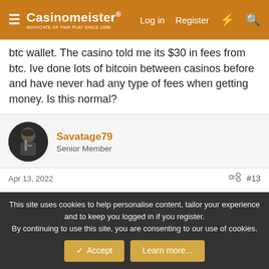Casinomeister® | Log in | Register
btc wallet. The casino told me its $30 in fees from btc. Ive done lots of bitcoin between casinos before and have never had any type of fees when getting money. Is this normal?
Savatage79
Senior Member
Apr 13, 2022 #13
BillyBonanza said:
Can you and other americans tell me if you have ever been charged a fee when being paid by an rtg casino through bitcoin?
I cashed out $$558 from richpalms but $200 was taken away because
This site uses cookies to help personalise content, tailor your experience and to keep you logged in if you register.
By continuing to use this site, you are consenting to our use of cookies.